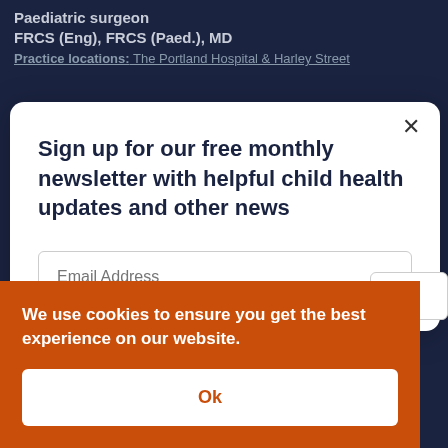Paediatric surgeon
FRCS (Eng), FRCS (Paed.), MD
Practice locations: The Portland Hospital & Harley Street
Sign up for our free monthly newsletter with helpful child health updates and other news
Email Address
We use cookies to ensure you get the best experience on our website.
Ok